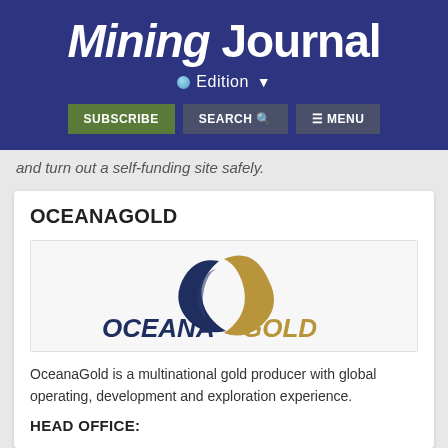Mining Journal
Edition
SUBSCRIBE   SEARCH   MENU
and turn out a self-funding site safely.
OCEANAGOLD
[Figure (logo): OceanaGold company logo with dark blue stylized wave/leaf icon and text OCEANAGOLD where OCEANA is in dark blue italic and GOLD is in gold/tan color]
OceanaGold is a multinational gold producer with global operating, development and exploration experience.
HEAD OFFICE: